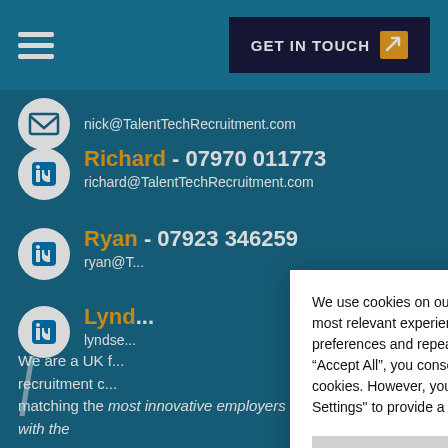GET IN TOUCH
nick@TalentTechRecruitment.com
Richard - 07970 011773
richard@TalentTechRecruitment.com
Ryan - 07923 346259
ryan@TalentTechRecruitment.com
Lyndsey...
lyndsey@TalentTechRecruitment.com
We are a UK f...
recruitment c...
matching the most innovative employers with the
We use cookies on our website to give you the most relevant experience by remembering your preferences and repeat visits. By clicking “Accept All”, you consent to the use of ALL the cookies. However, you may visit "Cookie Settings" to provide a controlled consent.